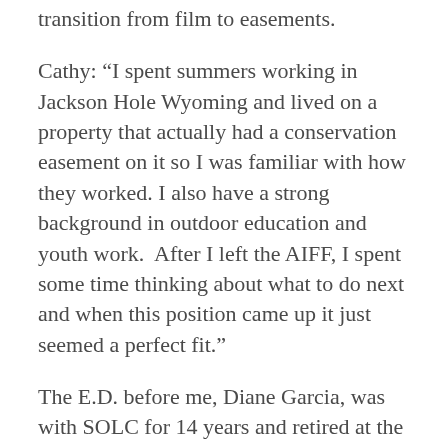transition from film to easements.
Cathy: “I spent summers working in Jackson Hole Wyoming and lived on a property that actually had a conservation easement on it so I was familiar with how they worked. I also have a strong background in outdoor education and youth work.  After I left the AIFF, I spent some time thinking about what to do next and when this position came up it just seemed a perfect fit.”
The E.D. before me, Diane Garcia, was with SOLC for 14 years and retired at the end of June. When she started she was the only employee and now SOLC supports eight employees who do everything from working with landowners to pulling invasive weeds